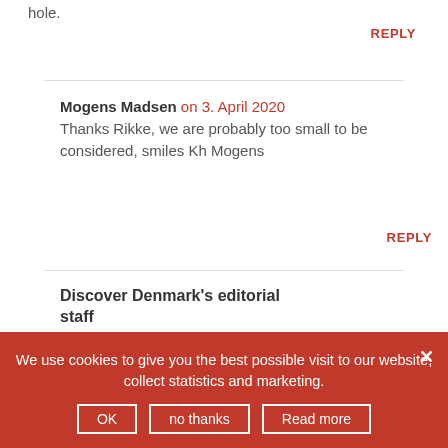hole.
REPLY
Mogens Madsen on 3. April 2020
Thanks Rikke, we are probably too small to be considered, smiles Kh Mogens
REPLY
Discover Denmark's editorial staff
We use cookies to give you the best possible visit to our website, collect statistics and marketing.
OK | no thanks | Read more